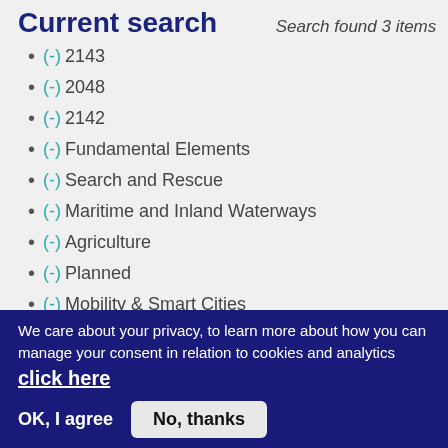Current search
Search found 3 items
(-) 2143
(-) 2048
(-) 2142
(-) Fundamental Elements
(-) Search and Rescue
(-) Maritime and Inland Waterways
(-) Agriculture
(-) Planned
(-) Mobility & Smart Cities
(-) 1389
We care about your privacy, to learn more about how you can manage your consent in relation to cookies and analytics click here
OK, I agree   No, thanks